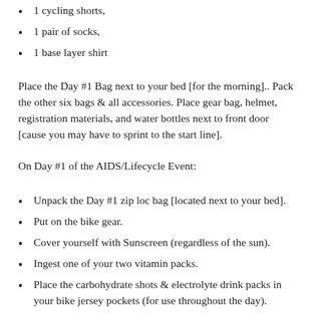1 cycling shorts,
1 pair of socks,
1 base layer shirt
Place the Day #1 Bag next to your bed [for the morning].. Pack the other six bags & all accessories. Place gear bag, helmet, registration materials, and water bottles next to front door [cause you may have to sprint to the start line].
On Day #1 of the AIDS/Lifecycle Event:
Unpack the Day #1 zip loc bag [located next to your bed].
Put on the bike gear.
Cover yourself with Sunscreen (regardless of the sun).
Ingest one of your two vitamin packs.
Place the carbohydrate shots & electrolyte drink packs in your bike jersey pockets (for use throughout the day).